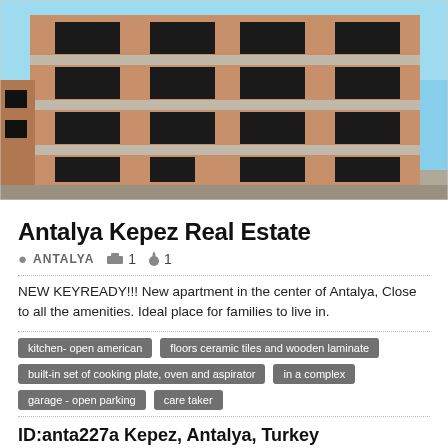[Figure (photo): Exterior photo of a multi-storey brick building under construction in Antalya, Turkey. The building has multiple floors with open window frames and concrete slabs, set against a blue sky.]
Antalya Kepez Real Estate
📍 ANTALYA  🛏 1  💧 1
NEW KEYREADY!!! New apartment in the center of Antalya, Close to all the amenities. Ideal place for families to live in.
kitchen- open american
floors ceramic tiles and wooden laminate
built-in set of cooking plate, oven and aspirator
in a complex
garage - open parking
care taker
ID:anta227a Kepez, Antalya, Turkey